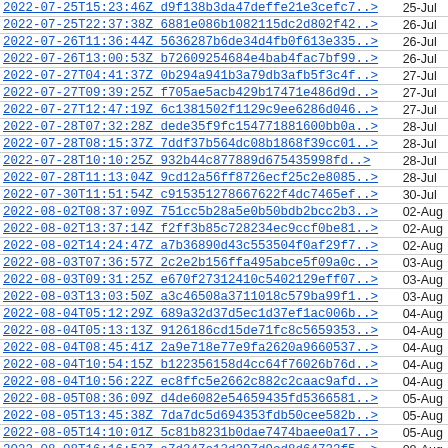| Timestamp + Hash | Date |
| --- | --- |
| 2022-07-25T15:23:46Z d9f138b3da47deffe21e3cefc7..> | 25-Jul |
| 2022-07-25T22:37:38Z 6881e086b1082115dc2d802f42..> | 26-Jul |
| 2022-07-26T11:36:44Z 5636287b6de34d4fb0f613e335..> | 26-Jul |
| 2022-07-26T13:00:53Z b72609254684e4bab4fac7bf99..> | 26-Jul |
| 2022-07-27T04:41:37Z 0b294a941b3a79db3afb5f3c4f..> | 27-Jul |
| 2022-07-27T09:39:25Z f705ae5acb429b17471e486d9d..> | 27-Jul |
| 2022-07-27T12:47:19Z 6c1381502f1129c9ee6286d046..> | 27-Jul |
| 2022-07-28T07:32:28Z dede35f9fc154771881600bb0a..> | 28-Jul |
| 2022-07-28T08:15:37Z 7ddf37b564dc08b1868f39cc01..> | 28-Jul |
| 2022-07-28T10:10:25Z 932b44c877889d675435998fd..> | 28-Jul |
| 2022-07-28T11:13:04Z 9cd12a56ff8726ecf25c2e8085..> | 28-Jul |
| 2022-07-30T11:51:54Z c915351278667622f4dc7465ef..> | 30-Jul |
| 2022-08-02T08:37:09Z 751cc5b28a5e0b50bdb2bcc2b3..> | 02-Aug |
| 2022-08-02T13:37:14Z f2ff3b85c728234ec9ccf0be81..> | 02-Aug |
| 2022-08-02T14:24:47Z a7b36890d43c553504f0af29f7..> | 02-Aug |
| 2022-08-03T07:36:57Z 2c2e2b156ffa495abce5f09a0c..> | 03-Aug |
| 2022-08-03T09:31:25Z e670f27312410c5402129eff07..> | 03-Aug |
| 2022-08-03T13:03:50Z a3c46508a3711018c579ba99f1..> | 03-Aug |
| 2022-08-04T05:12:29Z 689a32d37d5ec1d37ef1ac006b..> | 04-Aug |
| 2022-08-04T05:13:13Z 9126186cd15de71fc8c5659353..> | 04-Aug |
| 2022-08-04T08:45:41Z 2a9e718e77e9fa2620a9660537..> | 04-Aug |
| 2022-08-04T10:54:15Z b122356158d4cc64f76026b76d..> | 04-Aug |
| 2022-08-04T10:56:22Z ec8ffc5e2662c882c2caac9afd..> | 04-Aug |
| 2022-08-05T08:36:09Z d4de6082e54659435fd5366581..> | 05-Aug |
| 2022-08-05T13:45:38Z 7da7dc5d694353fdb50cee582b..> | 05-Aug |
| 2022-08-05T14:10:01Z 5c81b8231b0dae7474baee0a17..> | 05-Aug |
| 2022-08-08T16:16:52Z a7d247e12d397d9cd8d64732f5..> | 08-Aug |
| 2022-08-09T08:35:28Z 101e8a4c93299172fa39c222a6..> | 09-Aug |
| 2022-08-09T10:00:09Z 3c9604768ea57ad4fb1b602078..> | 09-Aug |
| 2022-08-11T06:22:47Z f2eb4ed4652d6774266bde6eeb..> | 11-Aug |